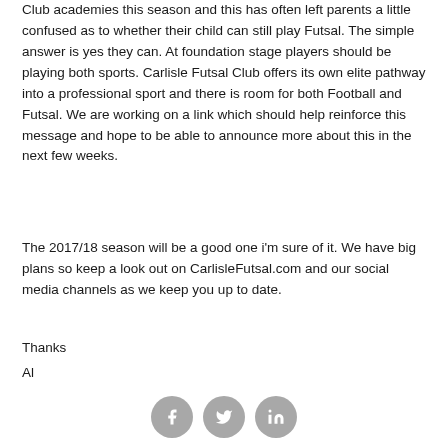Club academies this season and this has often left parents a little confused as to whether their child can still play Futsal. The simple answer is yes they can. At foundation stage players should be playing both sports. Carlisle Futsal Club offers its own elite pathway into a professional sport and there is room for both Football and Futsal. We are working on a link which should help reinforce this message and hope to be able to announce more about this in the next few weeks.
The 2017/18 season will be a good one i'm sure of it. We have big plans so keep a look out on CarlisleFutsal.com and our social media channels as we keep you up to date.
Thanks
Al
[Figure (other): Three circular social media icon buttons in grey: Facebook (f), Twitter (bird), LinkedIn (in)]